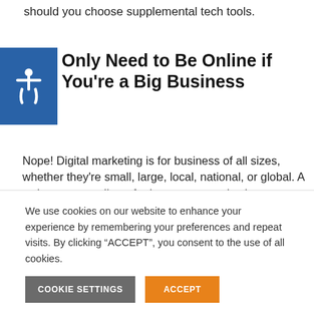should you choose supplemental tech tools.
Only Need to Be Online if You're a Big Business
Nope! Digital marketing is for business of all sizes, whether they're small, large, local, national, or global. A web presence allows for better communication, more opportunity for sale, and a whole new level of insight in analyzing customer buying habits and preferences. Even better? Your internal marketing team can gather and analyze this data without hiring a research firm to help you
We use cookies on our website to enhance your experience by remembering your preferences and repeat visits. By clicking “ACCEPT”, you consent to the use of all cookies.
COOKIE SETTINGS   ACCEPT